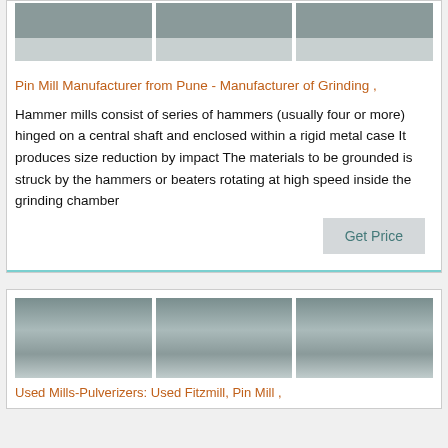[Figure (photo): Three small gray machinery/equipment thumbnail images in a row at top of first card]
Pin Mill Manufacturer from Pune - Manufacturer of Grinding ,
Hammer mills consist of series of hammers (usually four or more) hinged on a central shaft and enclosed within a rigid metal case It produces size reduction by impact The materials to be grounded is struck by the hammers or beaters rotating at high speed inside the grinding chamber
Get Price
[Figure (photo): Three industrial mill/pulverizer machine images in a row]
Used Mills-Pulverizers: Used Fitzmill, Pin Mill ,